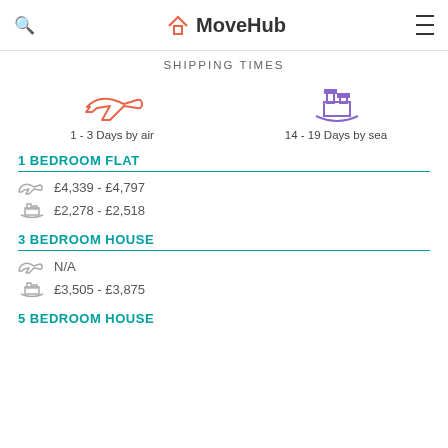MoveHub
SHIPPING TIMES
[Figure (infographic): Airplane icon (orange) with label '1 - 3 Days by air' and ship icon (purple) with label '14 - 19 Days by sea']
1 BEDROOM FLAT
£4,339 - £4,797 (by air)
£2,278 - £2,518 (by sea)
3 BEDROOM HOUSE
N/A (by air)
£3,505 - £3,875 (by sea)
5 BEDROOM HOUSE